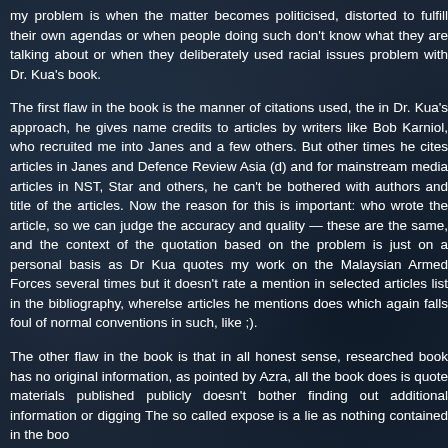my problem is when the matter becomes politicised, distorted to fulfill their own agendas or when people doing such don't know what they are talking about or when they deliberately used racial issues problem with Dr. Kua's book.
The first flaw in the book is the manner of citations used, the in Dr. Kua's approach, he gives name credits to articles by writers like Bob Karniol, who recruited me into Janes and a few others. But other times he cites articles in Janes and Defence Review Asia (d) and for mainstream media articles in NST, Star and others, he can't be bothered with authors and title of the articles. Now the reason for this is important: who wrote the article, so we can judge the accuracy and quality — these are the same, and the context of the quotation based on the problem is just on a personal basis as Dr Kua quotes my work on the Malaysian Armed Forces several times but it doesn't rate a mention in selected articles list in the bibliography, wherelse articles he mentions does which again falls foul of normal conventions in such, like ;).
The other flaw in the book is that in all honest sense, researched book has no original information, as pointed by Azra, all the book does is quote materials published publicly doesn't bother finding out additional information or digging The so called expose is a lie as nothing contained in the book